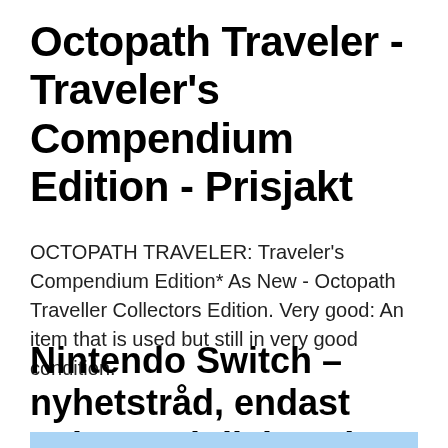Octopath Traveler - Traveler's Compendium Edition - Prisjakt
OCTOPATH TRAVELER: Traveler's Compendium Edition* As New - Octopath Traveller Collectors Edition. Very good: An item that is used but still in very good condition.
Nintendo Switch – nyhetstråd, endast nyheter ej diskussion
[Figure (other): Partial screenshot of a blue-toned image, cropped at bottom of page]